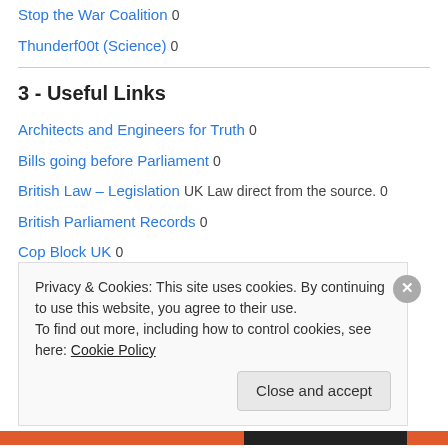Stop the War Coalition 0
Thunderf00t (Science) 0
3 - Useful Links
Architects and Engineers for Truth 0
Bills going before Parliament 0
British Law – Legislation UK Law direct from the source. 0
British Parliament Records 0
Cop Block UK 0
Cop Block US 0
Meltdown 2017 0
Privacy & Cookies: This site uses cookies. By continuing to use this website, you agree to their use. To find out more, including how to control cookies, see here: Cookie Policy
Close and accept